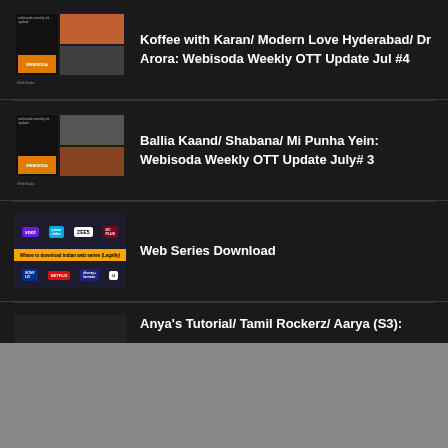Koffee with Karan/ Modern Love Hyderabad/ Dr Arora: Webisoda Weekly OTT Update Jul #4
Ballia Kaand/ Shabana/ Mi Punha Yein: Webisoda Weekly OTT Update July# 3
Web Series Download
Anya's Tutorial/ Tamil Rockerz/ Aarya (S3):